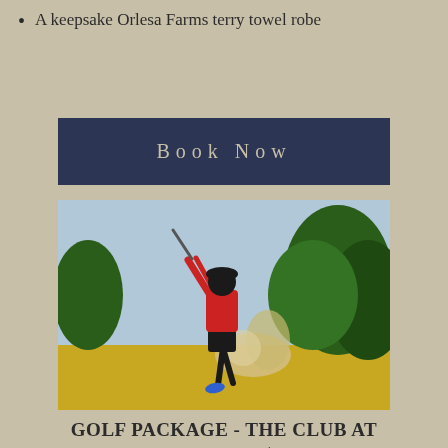A keepsake Orlesa Farms terry towel robe
[Figure (other): Dark navy blue 'Book Now' button]
[Figure (photo): A golfer in a red shirt and black shorts swinging a golf club on a golf course, with trees in the background and sand/dust flying]
GOLF PACKAGE - THE CLUB AT IRONWOOD $199
Only 1.6 miles away from The Club at Ironwood, Orlesa Farms is your perfect place to relax and play!  The Club at Ironwood is a friendly, social and recreational club with a